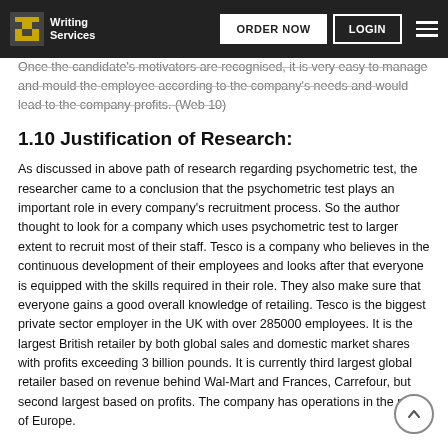Writing Services | ORDER NOW | LOGIN
Once the candidate's motivators are recognised, it is very easy to manage and mould the employee according to the company's needs and would lead to the company profits. (Web 10)
1.10 Justification of Research:
As discussed in above path of research regarding psychometric test, the researcher came to a conclusion that the psychometric test plays an important role in every company's recruitment process. So the author thought to look for a company which uses psychometric test to larger extent to recruit most of their staff. Tesco is a company who believes in the continuous development of their employees and looks after that everyone is equipped with the skills required in their role. They also make sure that everyone gains a good overall knowledge of retailing. Tesco is the biggest private sector employer in the UK with over 285000 employees. It is the largest British retailer by both global sales and domestic market shares with profits exceeding 3 billion pounds. It is currently third largest global retailer based on revenue behind Wal-Mart and Frances, Carrefour, but second largest based on profits. The company has operations in the rest of Europe.